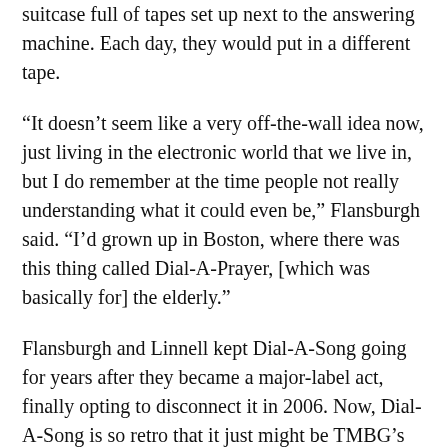suitcase full of tapes set up next to the answering machine. Each day, they would put in a different tape.
“It doesn’t seem like a very off-the-wall idea now, just living in the electronic world that we live in, but I do remember at the time people not really understanding what it could even be,” Flansburgh said. “I’d grown up in Boston, where there was this thing called Dial-A-Prayer, [which was basically for] the elderly.”
Flansburgh and Linnell kept Dial-A-Song going for years after they became a major-label act, finally opting to disconnect it in 2006. Now, Dial-A-Song is so retro that it just might be TMBG’s future. Flansburgh expects to release the band’s latest songs on an album (or series of albums) at some point, but for now the piecemeal approach seems like “an appropriate response to the way the world is now,” he said. “It used to be you put out an album and it would be like